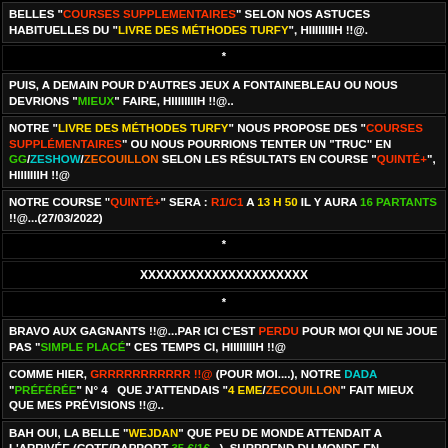BELLES "COURSES SUPPLEMENTAIRES" SELON NOS ASTUCES HABITUELLES DU "LIVRE DES MÉTHODES TURFY", HIIIIIIIIH !!@.
*
PUIS, A DEMAIN POUR D'AUTRES JEUX A FONTAINEBLEAU OU NOUS  DEVRIONS "MIEUX" FAIRE, HIIIIIIIIH !!@..
NOTRE "LIVRE DES MÉTHODES TURFY" NOUS PROPOSE DES "COURSES SUPPLÉMENTAIRES" OU NOUS POURRIONS TENTER UN "TRUC" EN GG/ZESHOW/ZECOUILLON SELON LES RÉSULTATS EN COURSE "QUINTÉ+", HIIIIIIIH !!@
NOTRE COURSE "QUINTÉ+" SERA : R1/C1 A 13 H 50 IL Y AURA 16 PARTANTS !!@...(27/03/2022)
*
XXXXXXXXXXXXXXXXXXXXX
*
BRAVO AUX GAGNANTS !!@...PAR ICI C'EST PERDU POUR MOI QUI NE JOUE PAS "SIMPLE PLACÉ" CES TEMPS CI, HIIIIIIIIH !!@
COMME HIER, GRRRRRRRRRRR !!@ (POUR MOI....), NOTRE DADA "PRÉFÉRÉE" N° 4  QUE J'ATTENDAIS "4 EME/ZECOUILLON" FAIT MIEUX QUE MES PRÉVISIONS !!@..
BAH OUI, LA BELLE "WEJDAN" QUE PEU DE MONDE ATTENDAIT A L'ARRIVÉE (COTE/RAPPORT 35 €/1€...), SURPREND DU MONDE EN